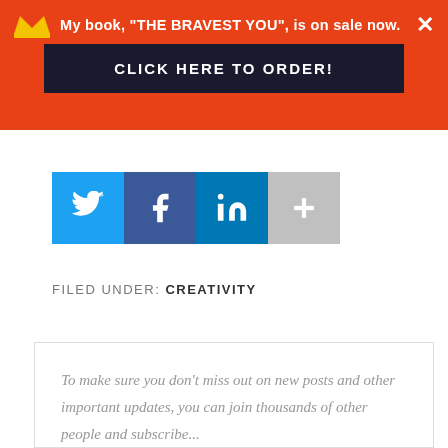My book, "THE BRAVEST YOU", is on sale now. CLICK HERE TO ORDER!
[Figure (infographic): Social share buttons: Twitter (blue bird icon), Facebook (dark blue f icon), LinkedIn (blue in icon), More (grey plus icon)]
FILED UNDER: CREATIVITY
To make sure you don't miss out on new posts and other important updates, you can join thousands of other people and subscribe...